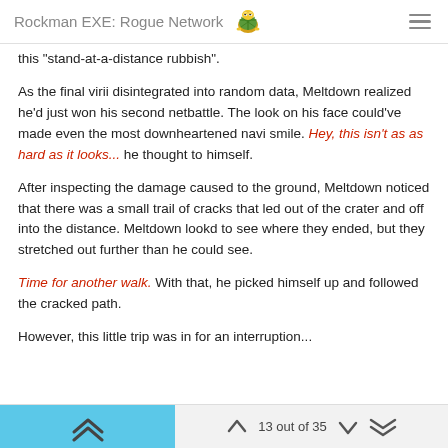Rockman EXE: Rogue Network
this "stand-at-a-distance rubbish".
As the final virii disintegrated into random data, Meltdown realized he'd just won his second netbattle. The look on his face could've made even the most downheartened navi smile. Hey, this isn't as as hard as it looks... he thought to himself.
After inspecting the damage caused to the ground, Meltdown noticed that there was a small trail of cracks that led out of the crater and off into the distance. Meltdown lookd to see where they ended, but they stretched out further than he could see.
Time for another walk. With that, he picked himself up and followed the cracked path.
However, this little trip was in for an interruption...
13 out of 35